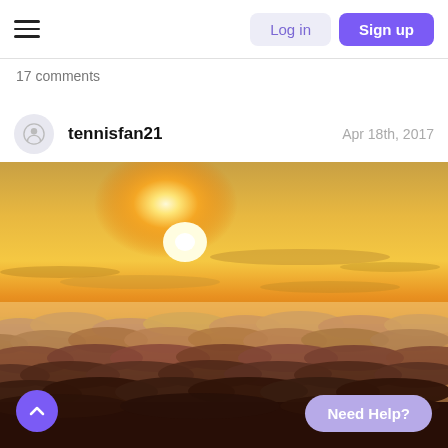Log in  Sign up
17 comments
tennisfan21   Apr 18th, 2017
[Figure (photo): Aerial sunset photo above clouds — bright golden sun near horizon with orange and golden sky, thick cloud layer below.]
Need Help?